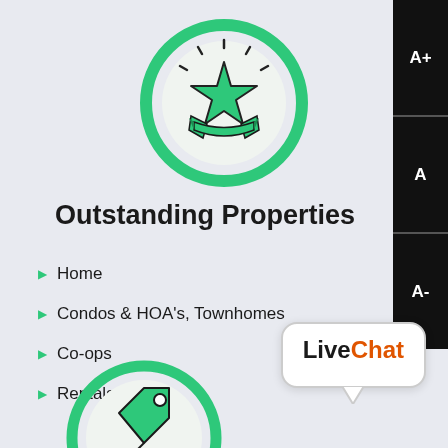[Figure (illustration): Green circle badge icon containing a star with ribbon/award, radiating lines around the star, on light blue-gray background]
Outstanding Properties
Home
Condos & HOA's, Townhomes
Co-ops
Rentals
[Figure (logo): LiveChat logo in speech bubble: 'Live' in black, 'Chat' in orange]
[Figure (illustration): Green circle badge icon partially visible at bottom, containing a price tag or similar icon]
[Figure (other): Font size buttons on right edge: A+, A, A-]